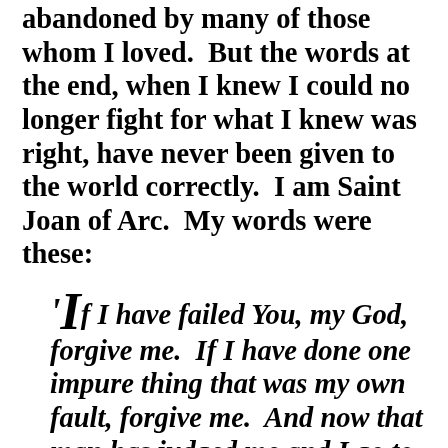abandoned by many of those whom I loved.  But the words at the end, when I knew I could no longer fight for what I knew was right, have never been given to the world correctly.  I am Saint Joan of Arc.  My words were these:
'If I have failed You, my God, forgive me.  If I have done one impure thing that was my own fault, forgive me.  And now that man has judged me and I go to Your Judgment, have mercy on me, for in my littleness, if I have failed You, I ask Your Forgiveness.  Do not let the